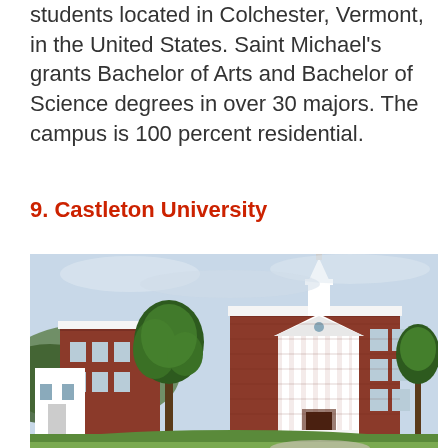students located in Colchester, Vermont, in the United States. Saint Michael's grants Bachelor of Arts and Bachelor of Science degrees in over 30 majors. The campus is 100 percent residential.
9. Castleton University
[Figure (photo): Photograph of Castleton University main building — a red brick Colonial Revival structure with white columned portico, white cupola/steeple, green lawn, and trees in the foreground against an overcast sky.]